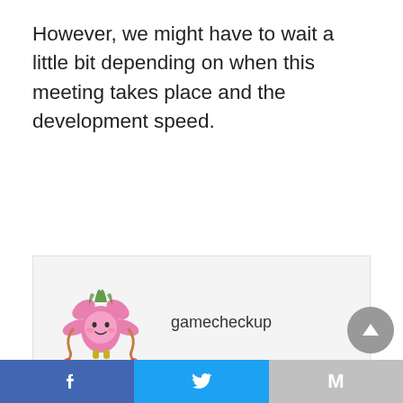However, we might have to wait a little bit depending on when this meeting takes place and the development speed.
[Figure (illustration): Cartoon character: pink flower/star-shaped creature with green leaves on top and small yellow feet, with braids]
gamecheckup
NEXT
ALL NEW PUBG: NEW STATE UPDATE : New maps, pre- registration »
PREVIOUS
« Twitch hot tub stream gets its own category on Twitch
f  [Twitter bird]  M